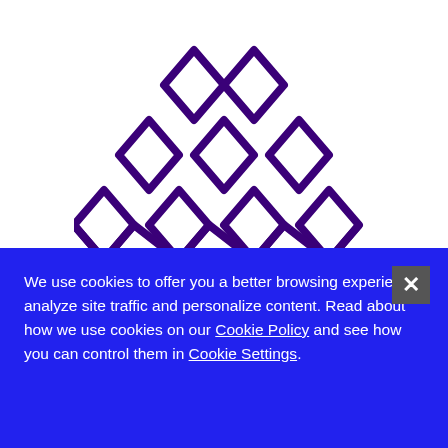[Figure (logo): Purple geometric diamond/hexagon grid logo forming a pyramid/trapezoid shape, made of interconnected diamond shapes outlined in dark purple]
Strategy &
We use cookies to offer you a better browsing experience, analyze site traffic and personalize content. Read about how we use cookies on our Cookie Policy and see how you can control them in Cookie Settings.